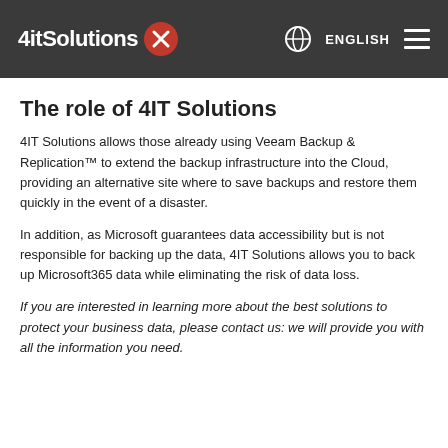4itSolutions | ENGLISH
The role of 4IT Solutions
4IT Solutions allows those already using Veeam Backup & Replication™ to extend the backup infrastructure into the Cloud, providing an alternative site where to save backups and restore them quickly in the event of a disaster.
In addition, as Microsoft guarantees data accessibility but is not responsible for backing up the data, 4IT Solutions allows you to back up Microsoft365 data while eliminating the risk of data loss.
If you are interested in learning more about the best solutions to protect your business data, please contact us: we will provide you with all the information you need.